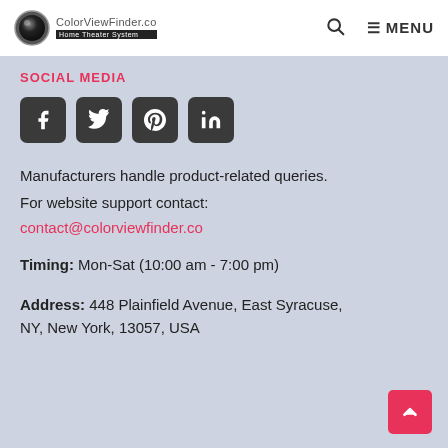ColorViewFinder.co Home Theater System
SOCIAL MEDIA
[Figure (other): Social media icon buttons: Facebook, Twitter, Pinterest, LinkedIn]
Manufacturers handle product-related queries.
For website support contact:
contact@colorviewfinder.co
Timing: Mon-Sat (10:00 am - 7:00 pm)
Address: 448 Plainfield Avenue, East Syracuse, NY, New York, 13057, USA